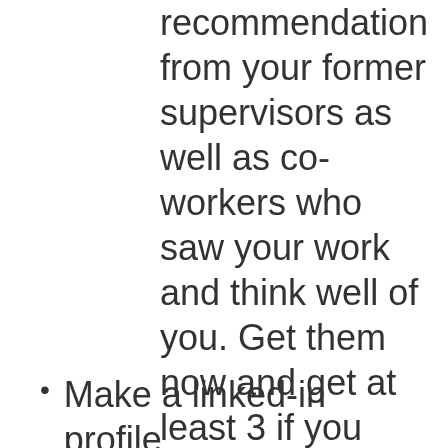recommendation from your former supervisors as well as co-workers who saw your work and think well of you. Get them now and get at least 3 if you can.  They need to be signed and in pdf form.
Make a linked-in profile,